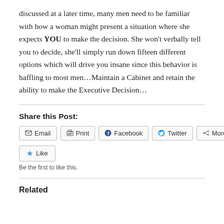discussed at a later time, many men need to be familiar with how a woman might present a situation where she expects YOU to make the decision. She won't verbally tell you to decide, she'll simply run down fifteen different options which will drive you insane since this behavior is baffling to most men...Maintain a Cabinet and retain the ability to make the Executive Decision…
Share this Post:
Email  Print  Facebook  Twitter  More
Like
Be the first to like this.
Related